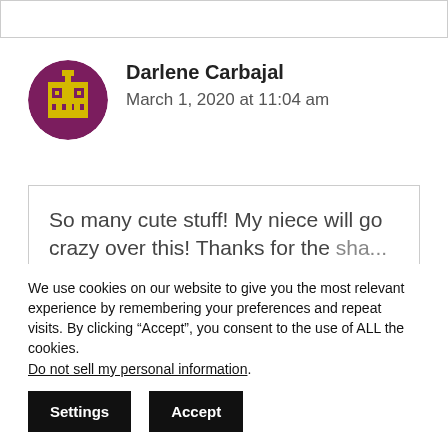[Figure (illustration): Purple circle avatar with yellow pixel-art robot/character icon - user avatar for Darlene Carbajal]
Darlene Carbajal
March 1, 2020 at 11:04 am
So many cute stuff! My niece will go crazy over this! Thanks for the [continues]
We use cookies on our website to give you the most relevant experience by remembering your preferences and repeat visits. By clicking “Accept”, you consent to the use of ALL the cookies. Do not sell my personal information.